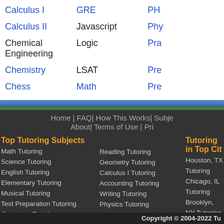Calculus I
GRE
Calculus II
Javascript
Chemical Engineering
Logic
Chemistry
LSAT
Chess
Math
Home | FAQ | How This Works | Subje... About | Terms of Use | Pri...
Top Tutoring Subjects
Tutoring in Top Cit...
Math Tutoring
Reading Tutoring
Houston, TX Tutoring
Science Tutoring
Geometry Tutoring
Chicago, IL Tutoring
English Tutoring
Calculus I Tutoring
Brooklyn, NY Tutoring
Elementary Tutoring
Accounting Tutoring
Los Angeles, CA Tutoring
Musical Tutoring
Writing Tutoring
Miami, FL Tutoring
Test Preparation Tutoring
Physics Tutoring
San Antonio, TX Tutoring
Computer Tutoring
SAT - Math Tutoring
New York, NY Tutoring
Language Arts Tutoring
Grammar Tutoring
Philadelphia, PA Tutoring
Algebra I Tutoring
Spanish Tutoring
Las Vegas, NV Tutoring
Chemistry Tutoring
Statistics Tutoring
Bronx, NY Tutoring
Copyright © 2004-2022 Tu...